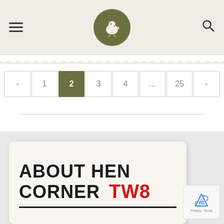Hen Corner website header with hamburger menu, chicken logo, and search icon
Pagination: < 1 2 3 4 ... 25 >
[Figure (screenshot): About Hen Corner TW8 street sign image in footer]
Privacy · Terms